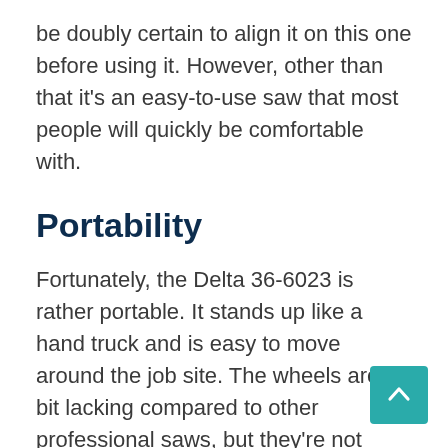be doubly certain to align it on this one before using it. However, other than that it's an easy-to-use saw that most people will quickly be comfortable with.
Portability
Fortunately, the Delta 36-6023 is rather portable. It stands up like a hand truck and is easy to move around the job site. The wheels are a bit lacking compared to other professional saws, but they're not terrible either.
The Delta 36-6023 is additionally...